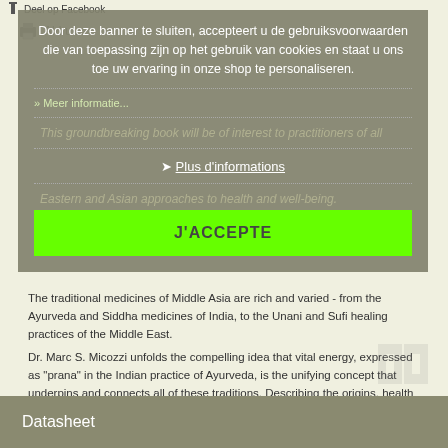Deel op Facebook
Door deze banner te sluiten, accepteert u de gebruiksvoorwaarden die van toepassing zijn op het gebruik van cookies en staat u ons toe uw ervaring in onze shop te personaliseren.
Plus d'informations
This groundbreaking book will be of interest to practitioners of all
J'ACCEPTE
Eastern and Asian approaches to health and well-being.
The traditional medicines of Middle Asia are rich and varied - from the Ayurveda and Siddha medicines of India, to the Unani and Sufi healing practices of the Middle East.
Dr. Marc S. Micozzi unfolds the compelling idea that vital energy, expressed as "prana" in the Indian practice of Ayurveda, is the unifying concept that underpins and connects all of these traditions. Describing the origins, health strategies, diagnostic approaches, and modern-day uses of each tradition, he also draws parallels to, and finds correlations with, mainstream Western concepts - and demonstrates how all these therapies fit within the context of their own cultures and ours.
Datasheet